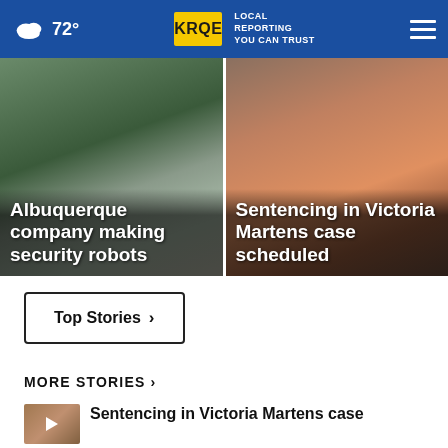72° KRQE LOCAL REPORTING YOU CAN TRUST
[Figure (photo): Outdoor scene with security robot near building with greenery - hero card left]
Albuquerque company making security robots
[Figure (photo): Man in orange prison jumpsuit in courtroom - hero card right]
Sentencing in Victoria Martens case scheduled
Top Stories ›
MORE STORIES ›
[Figure (screenshot): Video thumbnail for Victoria Martens sentencing story]
Sentencing in Victoria Martens case